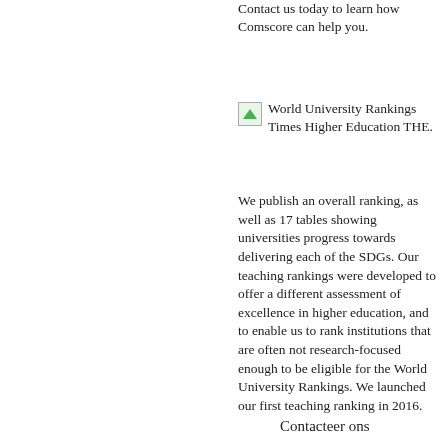Contact us today to learn how Comscore can help you.
[Figure (logo): Small logo image with green triangle icon]
World University Rankings Times Higher Education THE.
We publish an overall ranking, as well as 17 tables showing universities progress towards delivering each of the SDGs. Our teaching rankings were developed to offer a different assessment of excellence in higher education, and to enable us to rank institutions that are often not research-focused enough to be eligible for the World University Rankings. We launched our first teaching ranking in 2016.
Contacteer ons